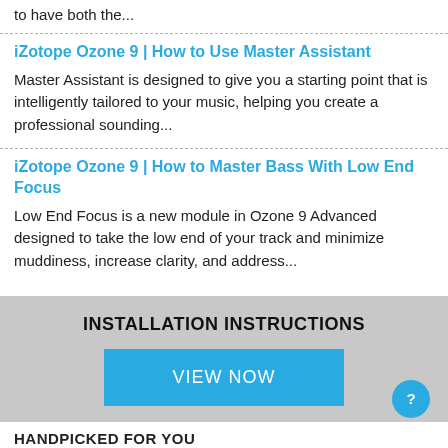to have both the...
iZotope Ozone 9 | How to Use Master Assistant
Master Assistant is designed to give you a starting point that is intelligently tailored to your music, helping you create a professional sounding...
iZotope Ozone 9 | How to Master Bass With Low End Focus
Low End Focus is a new module in Ozone 9 Advanced designed to take the low end of your track and minimize muddiness, increase clarity, and address...
[Figure (infographic): Gray box with 'INSTALLATION INSTRUCTIONS' heading and a blue 'VIEW NOW' button]
HANDPICKED FOR YOU